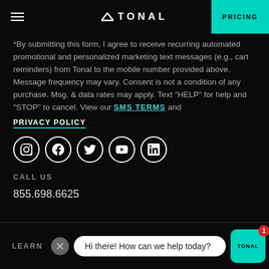TONAL | PRICING
*By submitting this form, I agree to receive recurring automated promotional and personalized marketing text messages (e.g., cart reminders) from Tonal to the mobile number provided above. Message frequency may vary. Consent is not a condition of any purchase. Msg. & data rates may apply. Text "HELP" for help and "STOP" to cancel. View our SMS TERMS and PRIVACY POLICY
[Figure (illustration): Row of 5 social media icons (Instagram, Facebook, Twitter, YouTube, LinkedIn) as white circles with white icons on black background]
CALL US
855.698.6625
LEARN | Hi there! How can we help today? | TONAL chat button with badge 1